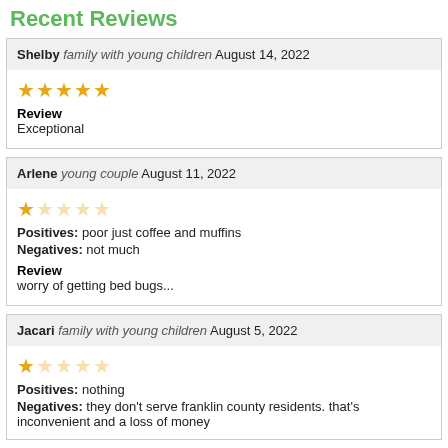Recent Reviews
Shelby family with young children August 14, 2022 — 5 stars — Review: Exceptional
Arlene young couple August 11, 2022 — 1 star — Positives: poor just coffee and muffins — Negatives: not much — Review: worry of getting bed bugs...
Jacari family with young children August 5, 2022 — 1 star — Positives: nothing — Negatives: they don't serve franklin county residents. that's inconvenient and a loss of money